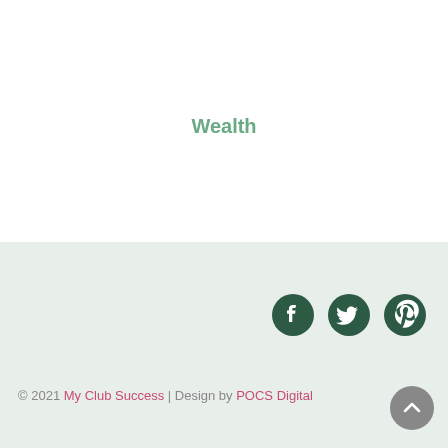Wealth
[Figure (illustration): Social media icons: Facebook, Twitter, Pinterest in dark green on light green background]
© 2021 My Club Success | Design by POCS Digital